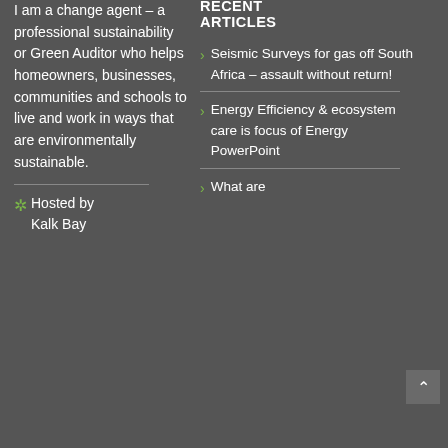I am a change agent – a professional sustainability or Green Auditor who helps homeowners, businesses, communities and schools to live and work in ways that are environmentally sustainable.
Hosted by Kalk Bay
RECENT ARTICLES
Seismic Surveys for gas off South Africa – assault without return!
Energy Efficiency & ecosystem care is focus of Energy PowerPoint
What are